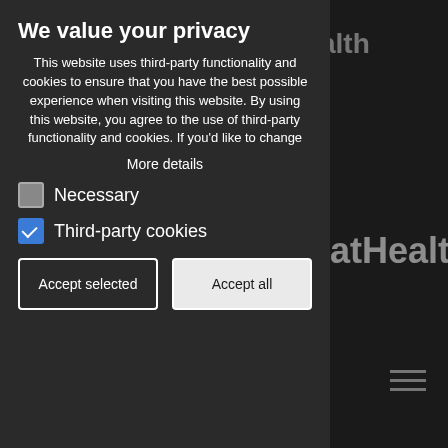[Figure (screenshot): Dark background of StratHealth Ltd website, partially visible behind a cookie consent modal overlay. Background shows the StratHealth Ltd logo text, navigation menu icon, and partially visible page headings.]
We value your privacy
This website uses third-party functionality and cookies to ensure that you have the best possible experience when visiting this website. By using this website, you agree to the use of third-party functionality and cookies. If you'd like to change
More details
Necessary
Third-party cookies
Accept selected
Accept all